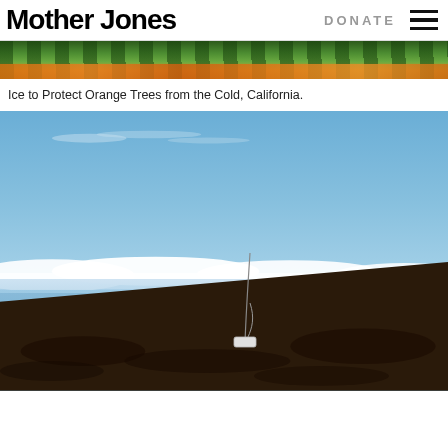Mother Jones
[Figure (photo): Top strip of orange trees with fruit visible among green foliage — ice protection image]
Ice to Protect Orange Trees from the Cold, California.
[Figure (photo): A weather monitoring device or sensor with a tall antenna/rod standing on a black lava field with blue sky, clouds, and ocean horizon in background]